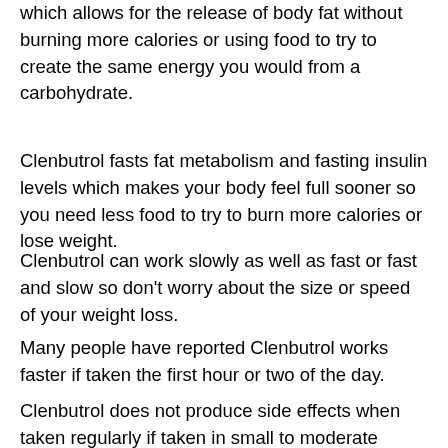which allows for the release of body fat without burning more calories or using food to try to create the same energy you would from a carbohydrate.
Clenbutrol fasts fat metabolism and fasting insulin levels which makes your body feel full sooner so you need less food to try to burn more calories or lose weight.
Clenbutrol can work slowly as well as fast or fast and slow so don't worry about the size or speed of your weight loss.
Many people have reported Clenbutrol works faster if taken the first hour or two of the day.
Clenbutrol does not produce side effects when taken regularly if taken in small to moderate doses.